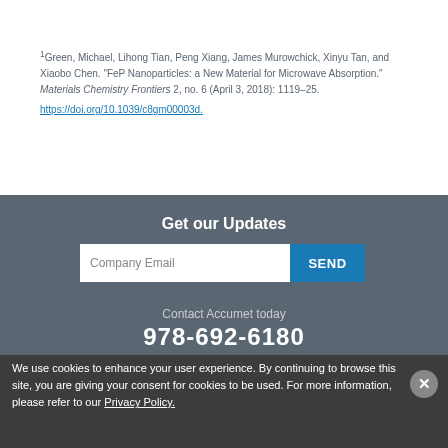1Green, Michael, Lihong Tian, Peng Xiang, James Murowchick, Xinyu Tan, and Xiaobo Chen. "FeP Nanoparticles: a New Material for Microwave Absorption." Materials Chemistry Frontiers 2, no. 6 (April 3, 2018): 1119&ndash25. https://doi.org/10.1039/c8gm00003d.
Get our Updates
Company Email SEND
Contact Accumet today
978-692-6180
We use cookies to enhance your user experience. By continuing to browse this site, you are giving your consent for cookies to be used. For more information, please refer to our Privacy Policy.